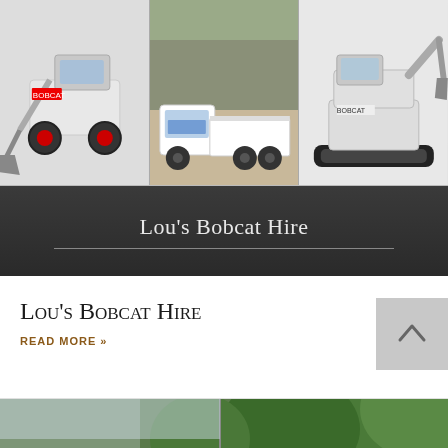[Figure (photo): Three photos in a row: a Bobcat skid-steer loader (left), a white flatbed truck (center), and a compact excavator (right), shown against a light gray background]
Lou’s Bobcat Hire
Lou’s Bobcat Hire
READ MORE »
[Figure (photo): Partial view of trees with green foliage, bottom portion of page]